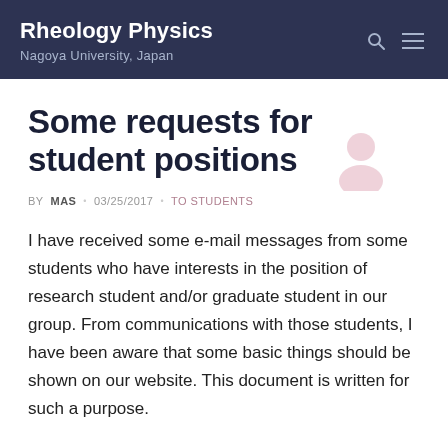Rheology Physics
Nagoya University, Japan
Some requests for student positions
BY MAS · 03/25/2017 · TO STUDENTS
I have received some e-mail messages from some students who have interests in the position of research student and/or graduate student in our group. From communications with those students, I have been aware that some basic things should be shown on our website. This document is written for such a purpose.